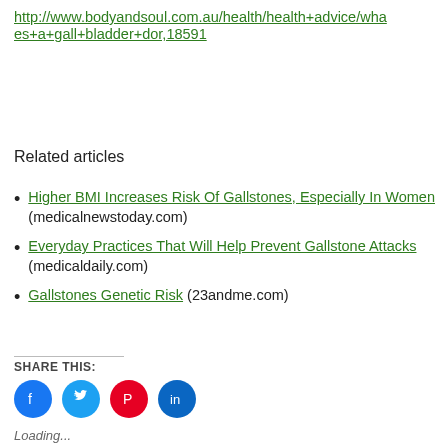http://www.bodyandsoul.com.au/health/health+advice/wha...es+a+gall+bladder+dor,18591
Related articles
Higher BMI Increases Risk Of Gallstones, Especially In Women (medicalnewstoday.com)
Everyday Practices That Will Help Prevent Gallstone Attacks (medicaldaily.com)
Gallstones Genetic Risk (23andme.com)
SHARE THIS:
Loading...